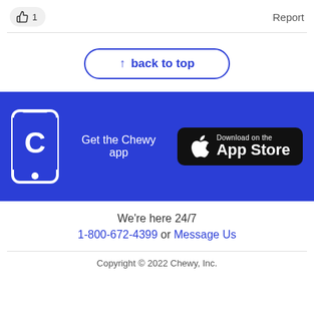👍 1   Report
↑ back to top
[Figure (illustration): Chewy app promotion banner with blue background, phone icon showing Chewy 'C' logo, text 'Get the Chewy app', and App Store download button]
We're here 24/7
1-800-672-4399 or Message Us
Copyright © 2022 Chewy, Inc.